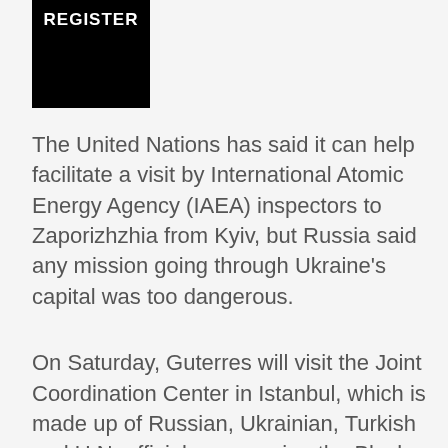[Figure (logo): Black rectangle with white bold text reading REGISTER]
The United Nations has said it can help facilitate a visit by International Atomic Energy Agency (IAEA) inspectors to Zaporizhzhia from Kyiv, but Russia said any mission going through Ukraine's capital was too dangerous.
On Saturday, Guterres will visit the Joint Coordination Center in Istanbul, which is made up of Russian, Ukrainian, Turkish and U.N. officials overseeing the Black Sea exports of Ukraine grain and fertilizer.
Three Black Sea ports were unblocked last month under a deal between Moscow and Kyiv, brokered